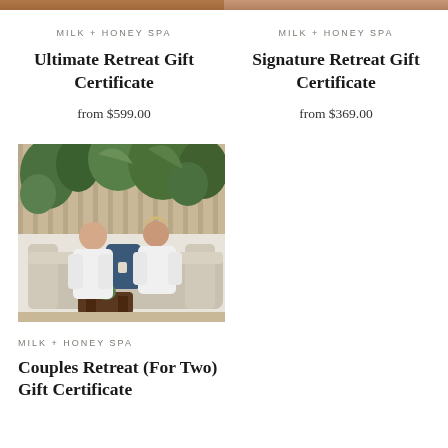[Figure (photo): Cropped top portion of spa/people image, left column]
[Figure (photo): Cropped top portion of spa/people image, right column]
MILK + HONEY SPA
Ultimate Retreat Gift Certificate
from $599.00
MILK + HONEY SPA
Signature Retreat Gift Certificate
from $369.00
[Figure (photo): Two people in white robes sitting on a sofa in a spa lounge area with tropical plants in the background, sharing a conversation over drinks]
MILK + HONEY SPA
Couples Retreat (For Two) Gift Certificate